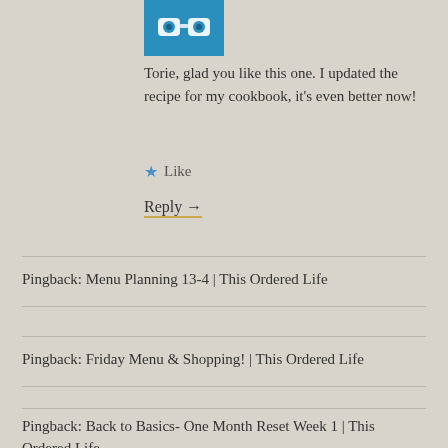[Figure (illustration): Teal/blue avatar image with stylized face (goggles/eyes icon) at top of comment section]
Torie, glad you like this one. I updated the recipe for my cookbook, it's even better now!
★ Like
Reply →
Pingback: Menu Planning 13-4 | This Ordered Life
Pingback: Friday Menu & Shopping! | This Ordered Life
Pingback: Back to Basics- One Month Reset Week 1 | This Ordered Life